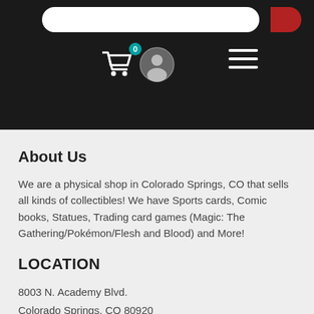[Figure (screenshot): Mobile website navigation bar with black background, shopping cart icon with badge showing 0, user profile icon, and hamburger menu icon. A search bar is visible at the top with a red search button.]
About Us
We are a physical shop in Colorado Springs, CO that sells all kinds of collectibles! We have Sports cards, Comic books, Statues, Trading card games (Magic: The Gathering/Pokémon/Flesh and Blood) and More!
LOCATION
8003 N. Academy Blvd.
Colorado Springs, CO 80920
(719) 424-7264